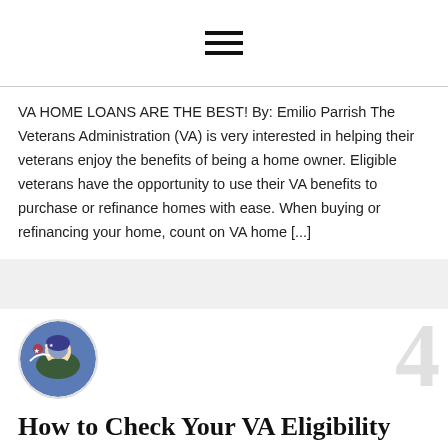☰ (hamburger menu icon)
VA HOME LOANS ARE THE BEST! By: Emilio Parrish The Veterans Administration (VA) is very interested in helping their veterans enjoy the benefits of being a home owner. Eligible veterans have the opportunity to use their VA benefits to purchase or refinance homes with ease. When buying or refinancing your home, count on VA home [...]
[Figure (photo): Circular avatar photo showing a military figure with an American flag background]
How to Check Your VA Eligibility
Nov 11, 2015
How to check your VA eligibility Have you served time in the United States Military, and now you're wondering if you are eligible for one of the best perks (in our opinion, but we're bias)—